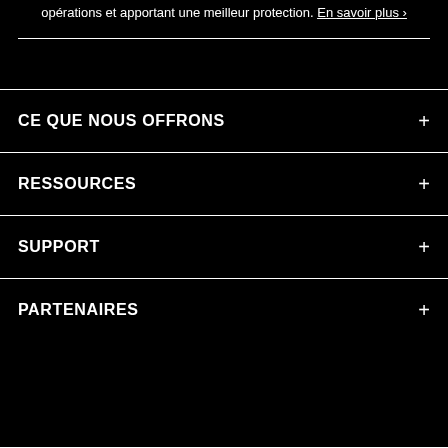opérations et apportant une meilleur protection. En savoir plus ›
CE QUE NOUS OFFRONS
RESSOURCES
SUPPORT
PARTENAIRES